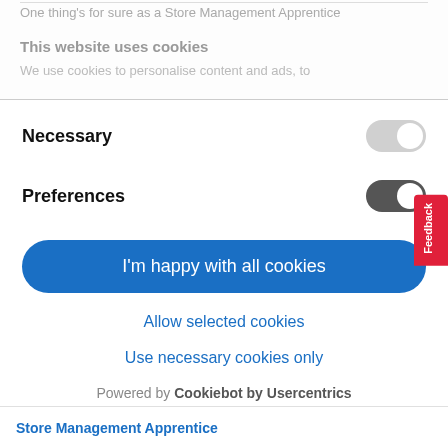One thing's for sure as a Store Management Apprentice
This website uses cookies
We use cookies to personalise content and ads, to
Necessary
Preferences
I'm happy with all cookies
Allow selected cookies
Use necessary cookies only
Powered by Cookiebot by Usercentrics
Store Management Apprentice